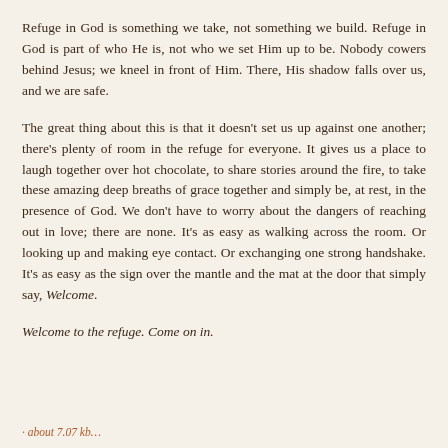Refuge in God is something we take, not something we build. Refuge in God is part of who He is, not who we set Him up to be. Nobody cowers behind Jesus; we kneel in front of Him. There, His shadow falls over us, and we are safe.
The great thing about this is that it doesn't set us up against one another; there's plenty of room in the refuge for everyone. It gives us a place to laugh together over hot chocolate, to share stories around the fire, to take these amazing deep breaths of grace together and simply be, at rest, in the presence of God. We don't have to worry about the dangers of reaching out in love; there are none. It's as easy as walking across the room. Or looking up and making eye contact. Or exchanging one strong handshake. It's as easy as the sign over the mantle and the mat at the door that simply say, Welcome.
Welcome to the refuge. Come on in.
· about 7.07 kb...